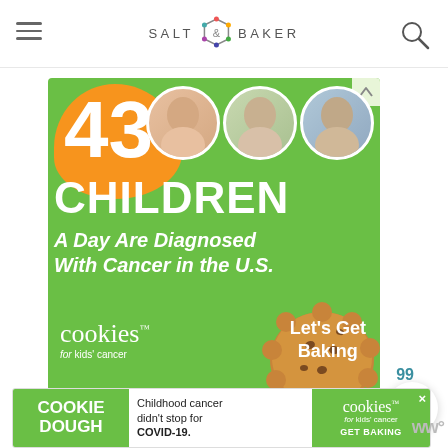SALT & BAKER
[Figure (infographic): Advertisement for 'Cookies for Kids' Cancer' showing '43 CHILDREN A Day Are Diagnosed With Cancer in the U.S.' on a green background with photos of children, an orange blob graphic, a cookie image, and text 'Let's Get Baking']
[Figure (infographic): Bottom banner ad: 'COOKIE DOUGH — Childhood cancer didn't stop for COVID-19. GET BAKING' with Cookies for Kids Cancer logo]
99